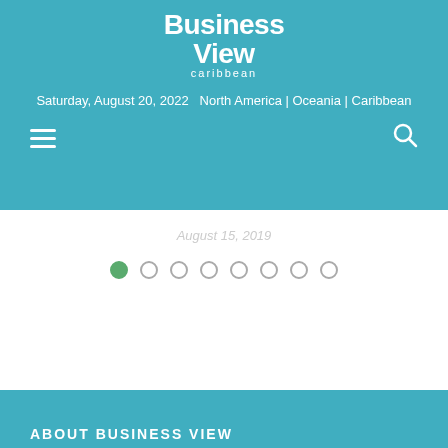[Figure (logo): Business View Caribbean logo in white text on teal background]
Saturday, August 20, 2022   North America | Oceania | Caribbean
[Figure (other): Hamburger menu icon (three horizontal lines) and search magnifying glass icon]
August 15, 2019
[Figure (other): Carousel pagination dots: 8 dots, first one filled green, rest empty circles]
ABOUT BUSINESS VIEW